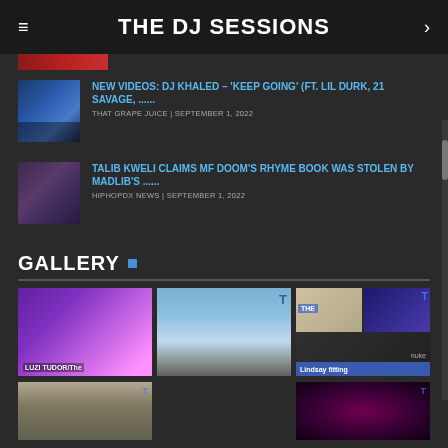THE DJ SESSIONS
[Figure (photo): Partial red banner image at top]
NEW VIDEOS: DJ KHALED – 'KEEP GOING' (FT. LIL DURK, 21 SAVAGE, ...... | THAT GRAPE JUICE | SEPTEMBER 1, 2022
TALIB KWELI CLAIMS MF DOOM'S RHYME BOOK WAS STOLEN BY MADLIB'S ...... | HIPHOPDX NEWS | SEPTEMBER 1, 2022
GALLERY
[Figure (photo): Gallery image 1: DJ in purple/violet lighting, LUZI TUDOR/The label at bottom]
[Figure (photo): Gallery image 2: DJ outdoors with headphones in desert landscape]
[Figure (photo): Gallery image 3: Split image with blonde woman and THE logo top right, man at computer bottom]
[Figure (photo): Gallery row 2 left: Building exterior with green roof]
[Figure (photo): Gallery row 2 right: Dark neon/pink graphic]